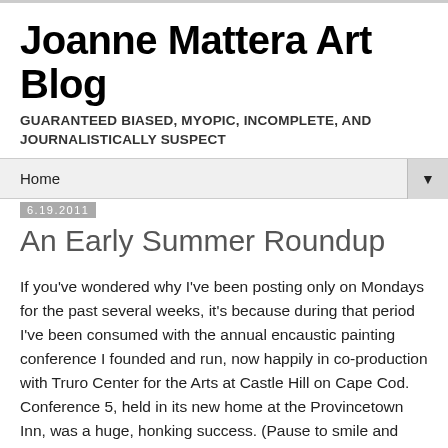Joanne Mattera Art Blog
GUARANTEED BIASED, MYOPIC, INCOMPLETE, AND JOURNALISTICALLY SUSPECT
Home ▼
6.19.2011
An Early Summer Roundup
If you've wondered why I've been posting only on Mondays for the past several weeks, it's because during that period I've been consumed with the annual encaustic painting conference I founded and run, now happily in co-production with Truro Center for the Arts at Castle Hill on Cape Cod. Conference 5, held in its new home at the Provincetown Inn, was a huge, honking success. (Pause to smile and exhale.) Some 250 conferees came from 38 states and five